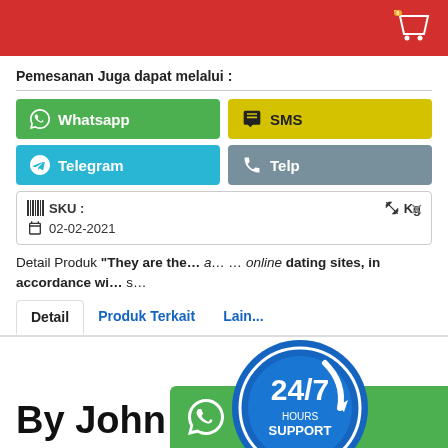Pemesanan Juga dapat melalui :
Whatsapp
SMS
Telegram
Telp
SKU :      Kg
02-02-2021
Detail Produk "They are the… a… … online dating sites, in accordance wi… s…
[Figure (logo): 24/7 HOURS SUPPORT circular blue badge with arrow]
Detail	Produk Terkait	Lain...
By John Bo
[Figure (logo): WhatsApp icon on green background bar at bottom right]